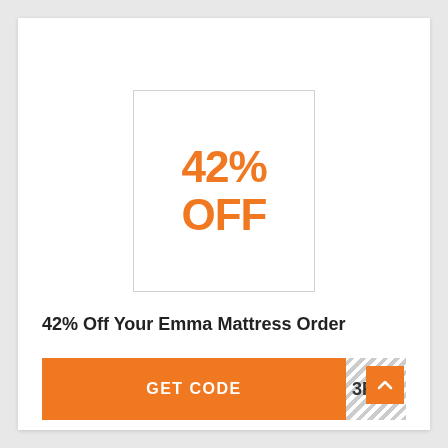[Figure (infographic): Orange bold text '42% OFF' centered inside a light-bordered square box]
42% Off Your Emma Mattress Order
[Figure (infographic): Orange button labeled 'GET CODE' with a hatched code area showing '3F' on the right side]
[Figure (infographic): Orange scroll-to-top button with upward arrow in bottom right corner]